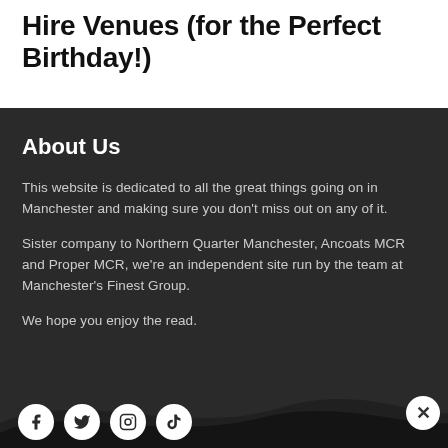Hire Venues (for the Perfect Birthday!)
About Us
This website is dedicated to all the great things going on in Manchester and making sure you don't miss out on any of it.
Sister company to Northern Quarter Manchester, Ancoats MCR and Proper MCR, we're an independent site run by the team at Manchester's Finest Group.
We hope you enjoy the read.